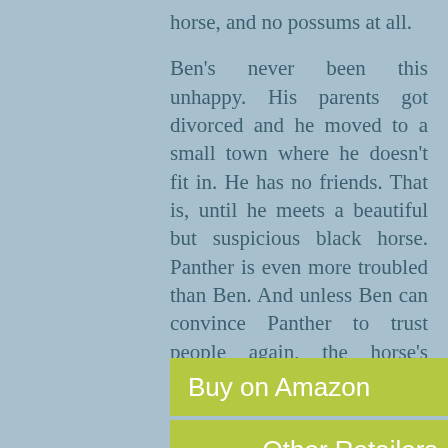horse, and no possums at all.
Ben’s never been this unhappy. His parents got divorced and he moved to a small town where he doesn’t fit in. He has no friends. That is, until he meets a beautiful but suspicious black horse. Panther is even more troubled than Ben. And unless Ben can convince Panther to trust people again, the horse’s sorrow may cost him his life.
Buy on Amazon
Other Retailers